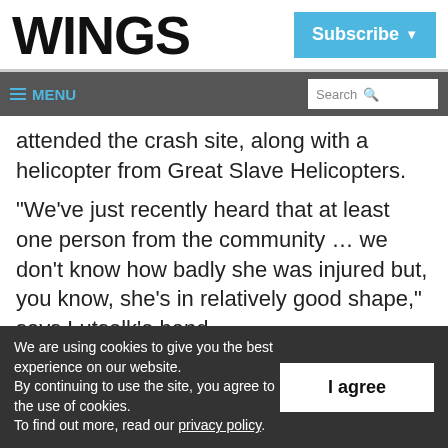WINGS
Subscribe ▾
≡ MENU    Search 🔍
attended the crash site, along with a helicopter from Great Slave Helicopters.
"We've just recently heard that at least one person from the community ... we don't know how badly she was injured but, you know, she's in relatively good shape," says Lutselk'e band
We are using cookies to give you the best experience on our website.
By continuing to use the site, you agree to the use of cookies.
To find out more, read our privacy policy.